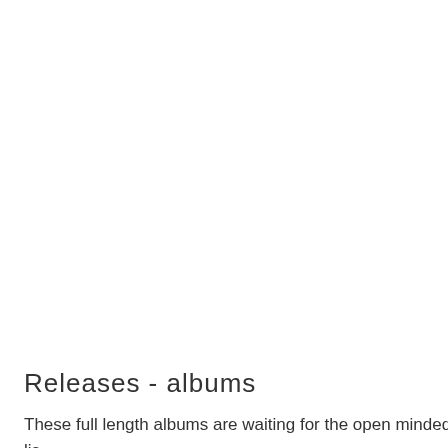[Figure (other): UI button or navigation element with rounded rectangle background labeled 'Releases']
Releases - albums
These full length albums are waiting for the open minded lis... Releases at Altar Rec. are available both on CD and downlo...